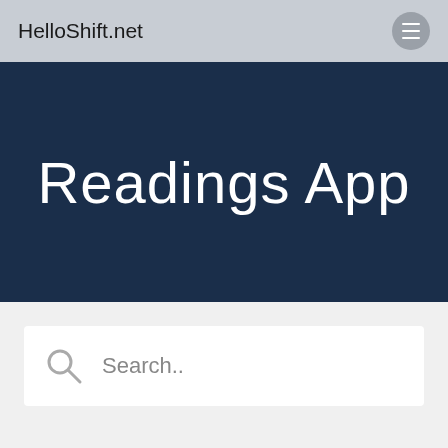HelloShift.net
Readings App
[Figure (screenshot): Search input box with magnifying glass icon and placeholder text 'Search..']